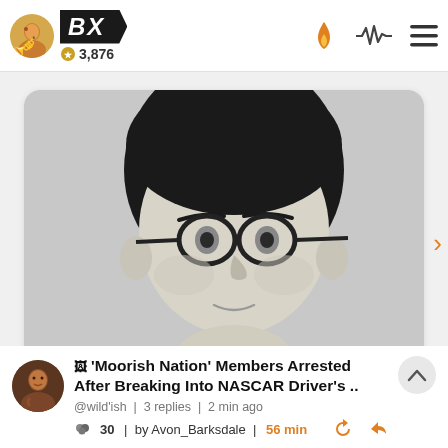BX | 3,876
[Figure (photo): Black and white close-up photo of a person's face with round glasses and dark hair pulled back, shown from nose up]
'Moorish Nation' Members Arrested After Breaking Into NASCAR Driver's ..
@wild'ish | 3 replies | 2 min ago
30 | by Avon_Barksdale | 56 min